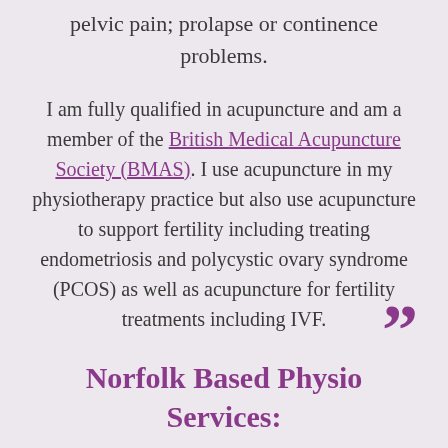pelvic pain; prolapse or continence problems.
I am fully qualified in acupuncture and am a member of the British Medical Acupuncture Society (BMAS). I use acupuncture in my physiotherapy practice but also use acupuncture to support fertility including treating endometriosis and polycystic ovary syndrome (PCOS) as well as acupuncture for fertility treatments including IVF.
Norfolk Based Physio Services: